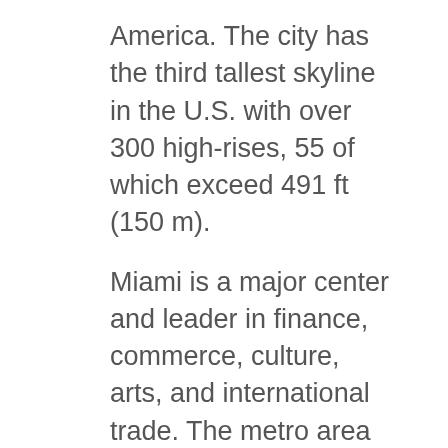America. The city has the third tallest skyline in the U.S. with over 300 high-rises, 55 of which exceed 491 ft (150 m).
Miami is a major center and leader in finance, commerce, culture, arts, and international trade. The metro area is by far the largest urban economy in Florida and the 12th largest in the United States, with a GDP of $344.9 billion as of 2017. In 2020, Miami was classified as a Beta + level global city by the GaWC. In 2019, Miami ranked seventh in the United States and 31st among global cities in business activity, human capital, information exchange, cultural experience, and political engagement. According to a 2018 UBS study of 77